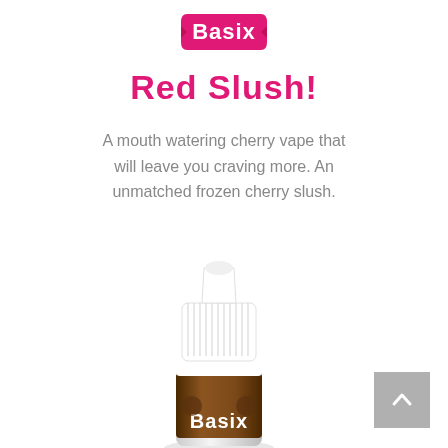[Figure (logo): Basix brand logo in pink bubbly font on white background]
Red Slush!
A mouth watering cherry vape that will leave you craving more. An unmatched frozen cherry slush.
[Figure (photo): A white dropper bottle with Basix label showing a frozen cherry slush flavor, with white cap and brown/chocolate colored label branding]